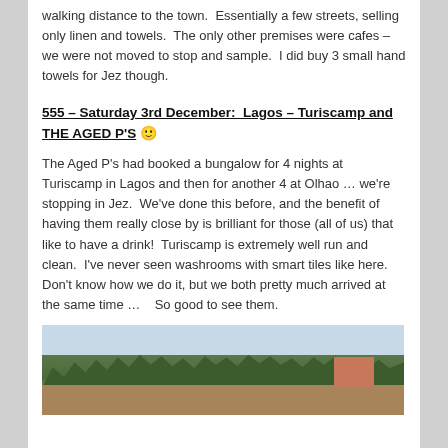walking distance to the town.  Essentially a few streets, selling only linen and towels.  The only other premises were cafes – we were not moved to stop and sample.  I did buy 3 small hand towels for Jez though.
555 – Saturday 3rd December:  Lagos – Turiscamp and THE AGED P'S 🙂
The Aged P's had booked a bungalow for 4 nights at Turiscamp in Lagos and then for another 4 at Olhao … we're stopping in Jez.  We've done this before, and the benefit of having them really close by is brilliant for those (all of us) that like to have a drink!  Turiscamp is extremely well run and clean.  I've never seen washrooms with smart tiles like here.  Don't know how we do it, but we both pretty much arrived at the same time …    So good to see them.
[Figure (photo): Landscape photo showing trees and vegetation in the foreground and middle ground, with a building visible on the right side, under an overcast sky.]